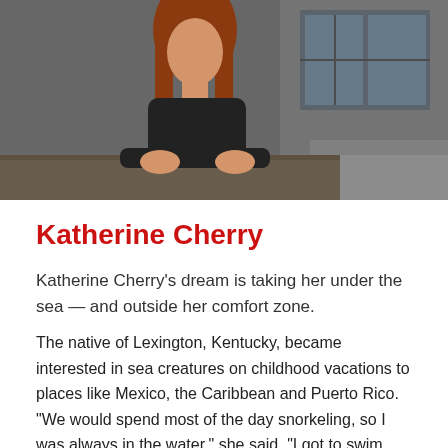[Figure (photo): Portrait photo of Katherine Cherry, a woman with long red hair wearing a black top, leaning on a wooden surface with a building featuring large windows visible in the background.]
Katherine Cherry
Katherine Cherry's dream is taking her under the sea — and outside her comfort zone.
The native of Lexington, Kentucky, became interested in sea creatures on childhood vacations to places like Mexico, the Caribbean and Puerto Rico. "We would spend most of the day snorkeling, so I was always in the water," she said. "I got to swim with nurse sharks, see turtles, dolphins and stingrays, and observing